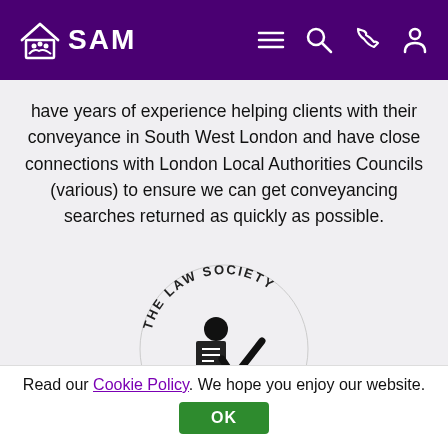SAM
have years of experience helping clients with their conveyance in South West London and have close connections with London Local Authorities Councils (various) to ensure we can get conveyancing searches returned as quickly as possible.
[Figure (logo): The Law Society Accredited logo — circular badge with text 'THE LAW SOCIETY • ACCREDITED' around the edge, featuring a figure with a checkmark in black and pink]
Conveyancing Quality Scheme & On All Mortgage Lender Panels
All of our panel solicitors have been awarded the
Read our Cookie Policy. We hope you enjoy our website.
OK